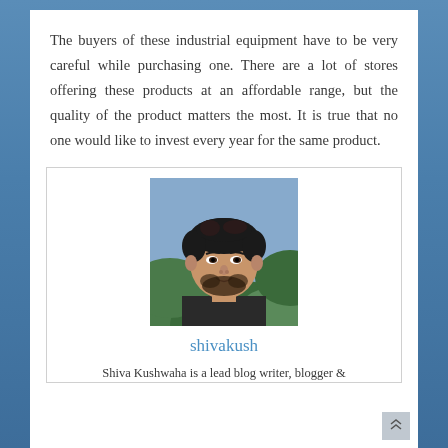The buyers of these industrial equipment have to be very careful while purchasing one. There are a lot of stores offering these products at an affordable range, but the quality of the product matters the most. It is true that no one would like to invest every year for the same product.
[Figure (photo): Headshot photo of a young man with short dark hair and a beard, wearing a dark shirt, with green foliage in the background.]
shivakush
Shiva Kushwaha is a lead blog writer, blogger &